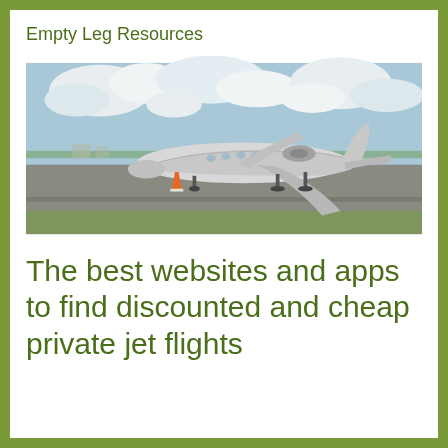Empty Leg Resources
[Figure (photo): A white private jet aircraft parked on an airport tarmac with cloudy sky in the background. An orange traffic cone is visible near the front landing gear.]
The best websites and apps to find discounted and cheap private jet flights